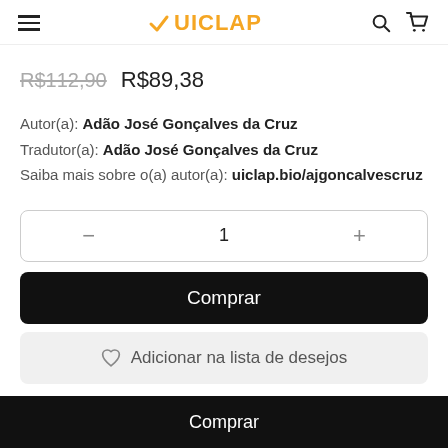UICLAP
R$112,90  R$89,38
Autor(a): Adão José Gonçalves da Cruz
Tradutor(a): Adão José Gonçalves da Cruz
Saiba mais sobre o(a) autor(a): uiclap.bio/ajgoncalvescruz
— 1 +
Comprar
♡ Adicionar na lista de desejos
Comprar